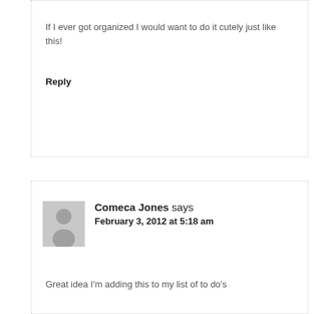If I ever got organized I would want to do it cutely just like this!
Reply
Comeca Jones says
February 3, 2012 at 5:18 am
Great idea I'm adding this to my list of to do's